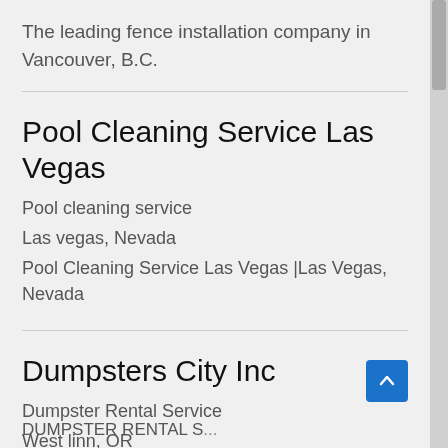The leading fence installation company in Vancouver, B.C.
Pool Cleaning Service Las Vegas
Pool cleaning service
Las vegas, Nevada
Pool Cleaning Service Las Vegas |Las Vegas, Nevada
Dumpsters City Inc
Dumpster Rental Service
West linn, OR
DUMPSTER RENTAL (partially visible)